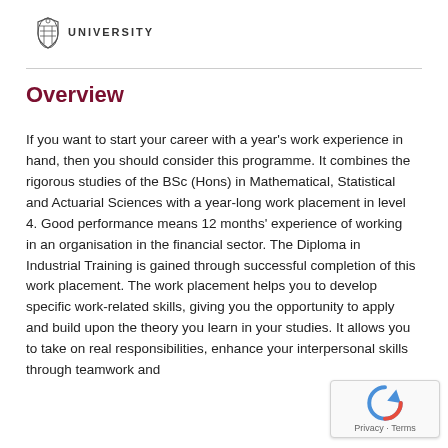UNIVERSITY
Overview
If you want to start your career with a year's work experience in hand, then you should consider this programme. It combines the rigorous studies of the BSc (Hons) in Mathematical, Statistical and Actuarial Sciences with a year-long work placement in level 4. Good performance means 12 months' experience of working in an organisation in the financial sector. The Diploma in Industrial Training is gained through successful completion of this work placement. The work placement helps you to develop specific work-related skills, giving you the opportunity to apply and build upon the theory you learn in your studies. It allows you to take on real responsibilities, enhance your interpersonal skills through teamwork and